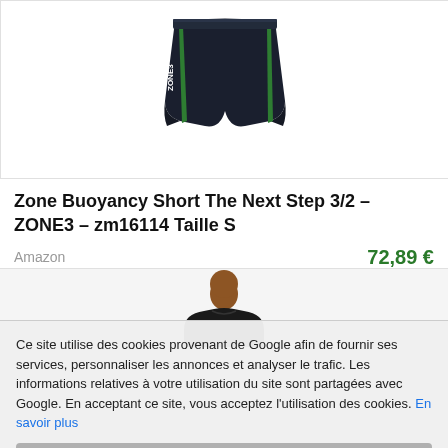[Figure (photo): Swimming shorts product photo - dark navy shorts with green stripe on the side, Zone3 brand]
Zone Buoyancy Short The Next Step 3/2 – ZONE3 – zm16114 Taille S
Amazon   72,89 €
[Figure (photo): Partial photo of a man wearing a black t-shirt, only head and shoulders visible]
Ce site utilise des cookies provenant de Google afin de fournir ses services, personnaliser les annonces et analyser le trafic. Les informations relatives à votre utilisation du site sont partagées avec Google. En acceptant ce site, vous acceptez l'utilisation des cookies. En savoir plus
Fermer ✕